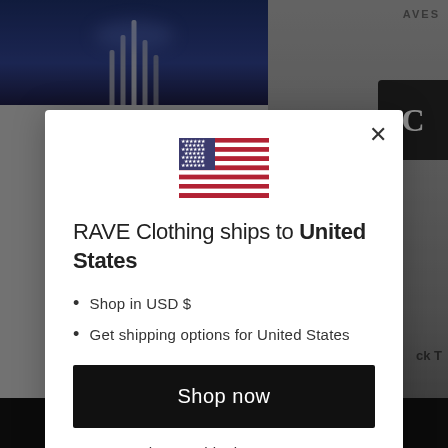[Figure (screenshot): Background showing a website with dark concert/event photo on left and clothing product images on right, mostly obscured by modal overlay]
[Figure (illustration): US flag icon centered above modal title]
RAVE Clothing ships to United States
Shop in USD $
Get shipping options for United States
Shop now
Change shipping country